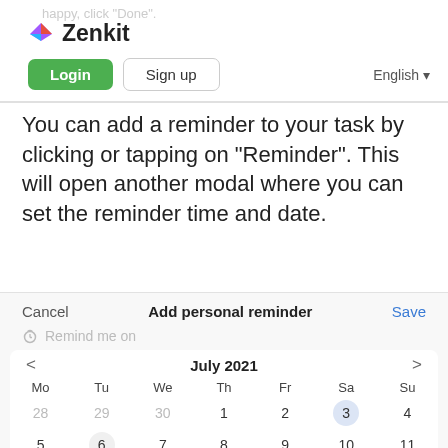happy, click "Done".
[Figure (logo): Zenkit logo with diamond-shaped icon in pink/purple/blue gradient and bold text 'Zenkit']
[Figure (screenshot): Navigation buttons: green 'Login' button, 'Sign up' button with border, 'English' dropdown on right]
You can add a reminder to your task by clicking or tapping on "Reminder". This will open another modal where you can set the reminder time and date.
[Figure (screenshot): Modal dialog showing 'Add personal reminder' with Cancel and Save buttons, a 'Remind me on' field with bell icon, and a calendar for July 2021 showing dates Mo Tu We Th Fr Sa Su with weeks starting 28-4 and 5-11, with 3 highlighted on Sa and 6 highlighted on Tu]